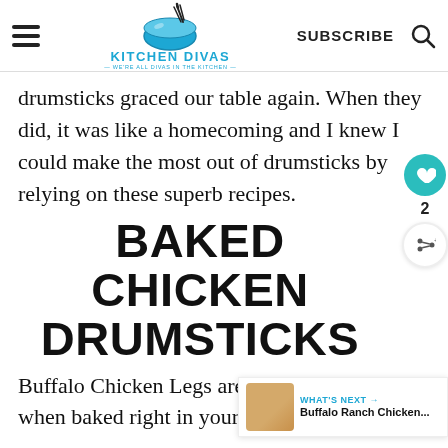Kitchen Divas — WE'RE ALL DIVAS IN THE KITCHEN
drumsticks graced our table again. When they did, it was like a homecoming and I knew I could make the most out of drumsticks by relying on these superb recipes.
BAKED CHICKEN DRUMSTICKS
Buffalo Chicken Legs are simply the best when baked right in your oven